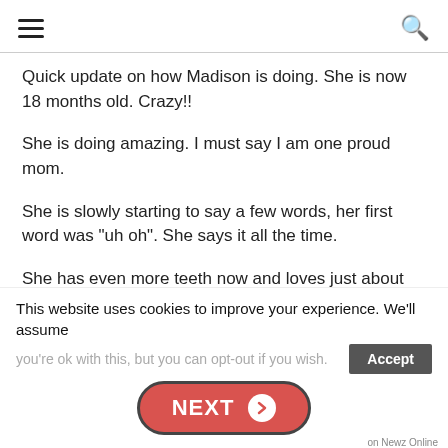Navigation header with hamburger menu and search icon
Quick update on how Madison is doing. She is now 18 months old. Crazy!!
She is doing amazing. I must say I am one proud mom.
She is slowly starting to say a few words, her first word was "uh oh". She says it all the time.
She has even more teeth now and loves just about any food. She does have her favorites.
She is one busy little girl and her whole world is about to change
This website uses cookies to improve your experience. We'll assume you're ok with this, but you can opt-out if you wish.
NEXT